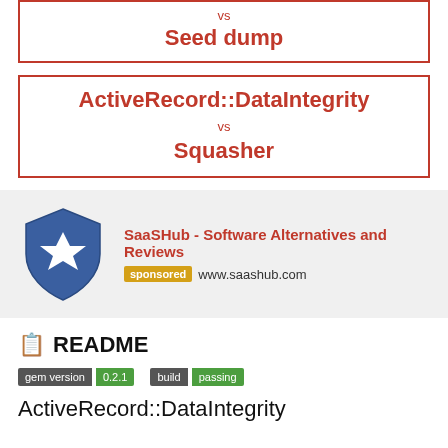vs
Seed dump
ActiveRecord::DataIntegrity vs Squasher
[Figure (other): SaaSHub advertisement with shield logo, title 'SaaSHub - Software Alternatives and Reviews', sponsored badge, and www.saashub.com URL]
README
[Figure (other): gem version 0.2.1 badge and build passing badge]
ActiveRecord::DataIntegrity